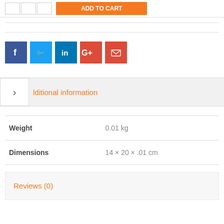[Figure (infographic): Social share icons: Facebook (blue), Twitter (light blue), LinkedIn (dark blue), Google+ (red), Email (red)]
lditional information
|  |  |
| --- | --- |
| Weight | 0.01 kg |
| Dimensions | 14 × 20 × .01 cm |
Reviews (0)